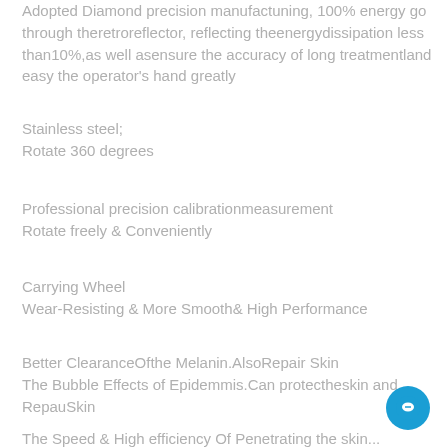Adopted Diamond precision manufactuning, 100% energy go through theretroreflector, reflecting theenergydissipation less than10%,as well asensure the accuracy of long treatmentland easy the operator's hand greatly
Stainless steel;
Rotate 360 degrees
Professional precision calibrationmeasurement
Rotate freely & Conveniently
Carrying Wheel
Wear-Resisting & More Smooth& High Performance
Better ClearanceOfthe Melanin.AlsoRepair Skin
The Bubble Effects of Epidemmis.Can protectheskin and RepauSkin
The Speed & High efficiency Of Penetrating the skin...